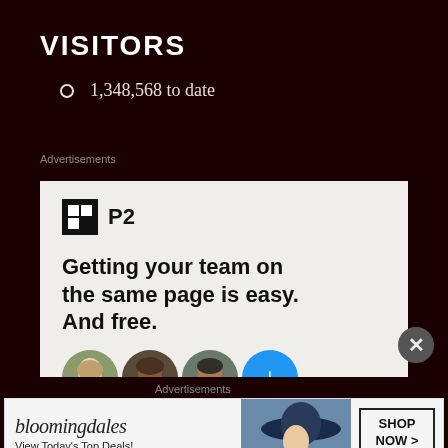VISITORS
1,348,568 to date
Advertisements
[Figure (screenshot): P2 advertisement banner: logo with black square and 'P2' text, headline 'Getting your team on the same page is easy. And free.' with circular profile photo avatars and a blue plus button]
Advertisements
[Figure (screenshot): Bloomingdale's advertisement banner: bloomingdales logo, 'View Today's Top Deals!', image of woman in hat, 'SHOP NOW >' button]